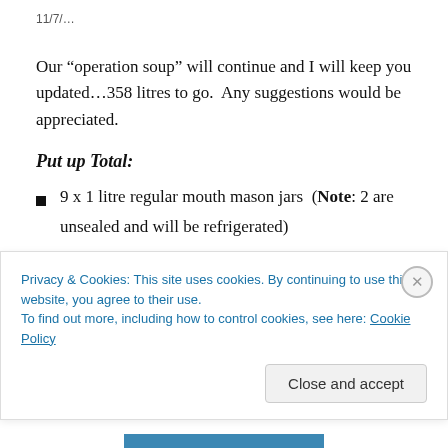11/7/...
Our “operation soup” will continue and I will keep you updated…358 litres to go.  Any suggestions would be appreciated.
Put up Total:
9 x 1 litre regular mouth mason jars  (Note: 2 are unsealed and will be refrigerated)
Privacy & Cookies: This site uses cookies. By continuing to use this website, you agree to their use.
To find out more, including how to control cookies, see here: Cookie Policy
Close and accept